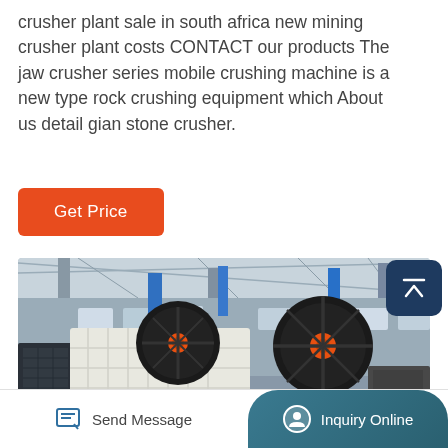crusher plant sale in south africa new mining crusher plant costs CONTACT our products The jaw crusher series mobile crushing machine is a new type rock crushing equipment which About us detail gian stone crusher.
[Figure (other): Button: orange rounded rectangle with white text 'Get Price']
[Figure (photo): Interior of a factory/warehouse showing industrial jaw crusher machines with large black and orange flywheels, metal framework, blue banners hanging from ceiling, windows along walls.]
[Figure (other): Scroll-to-top button: dark navy rounded square with white upward chevron/arrow icon, positioned at top-right of image.]
Send Message   Inquiry Online